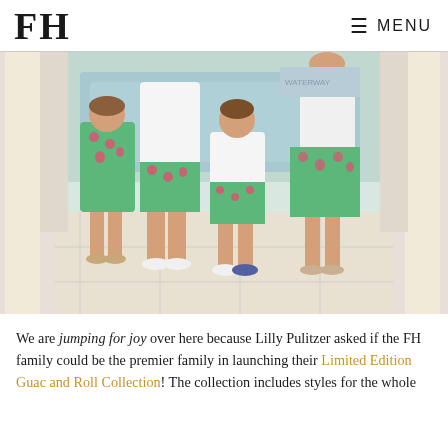FH  MENU
[Figure (photo): A family posing together outdoors on a tiled patio. A young girl in a green floral dress stands on the left, a man in green floral shorts in the center-left, a young boy in a white polo shirt and green floral shorts in the center, and a woman in a green floral skirt on the right. White curtains and a pool are visible in the background.]
We are jumping for joy over here because Lilly Pulitzer asked if the FH family could be the premier family in launching their Limited Edition Guac and Roll Collection! The collection includes styles for the whole